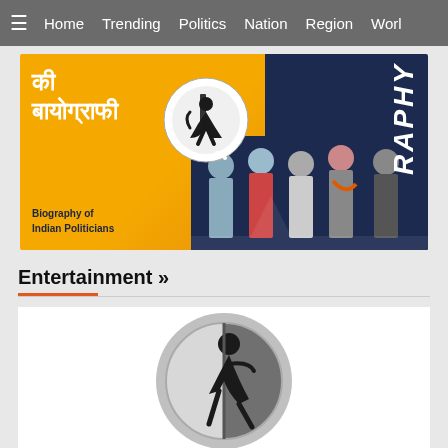≡  Home  Trending  Politics  Nation  Region  Worl
[Figure (photo): Banner image for Biography of Indian Politicians — orange/yellow left half with Hindi text 'की बायोग्राफी', a circle logo with silhouette figure, dark navy right half with 'RAPHY' text vertically and group of Indian politicians at bottom right]
Entertainment »
[Figure (photo): Greyscale circular logo/icon showing a stylized human silhouette figure against a half-dark circle background, on a white rectangular card]